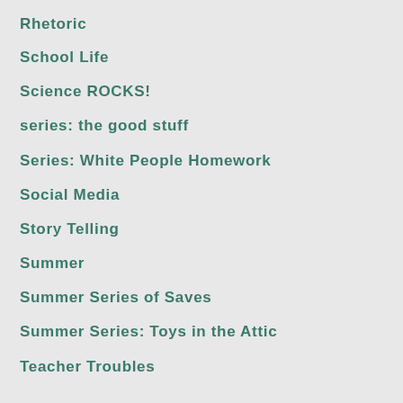Rhetoric
School Life
Science ROCKS!
series: the good stuff
Series: White People Homework
Social Media
Story Telling
Summer
Summer Series of Saves
Summer Series: Toys in the Attic
Teacher Troubles